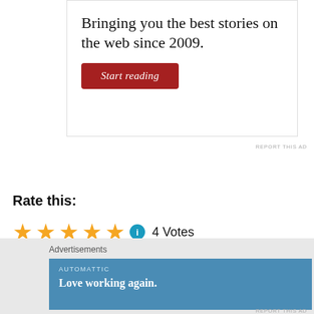[Figure (infographic): Advertisement box with text 'Bringing you the best stories on the web since 2009.' and a red 'Start reading' button]
REPORT THIS AD
Rate this:
★★★★★ ℹ 4 Votes
Advertisements
[Figure (infographic): Automattic advertisement banner with blue background, text 'AUTOMATTIC' and 'Love working again.']
REPORT THIS AD